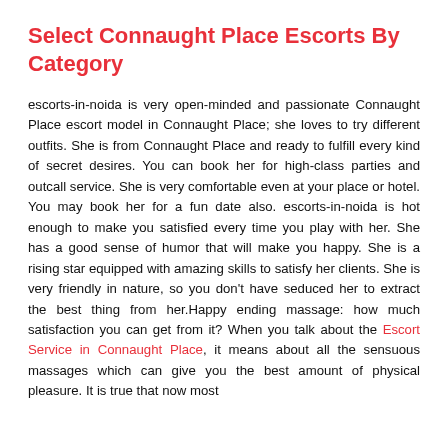Select Connaught Place Escorts By Category
escorts-in-noida is very open-minded and passionate Connaught Place escort model in Connaught Place; she loves to try different outfits. She is from Connaught Place and ready to fulfill every kind of secret desires. You can book her for high-class parties and outcall service. She is very comfortable even at your place or hotel. You may book her for a fun date also. escorts-in-noida is hot enough to make you satisfied every time you play with her. She has a good sense of humor that will make you happy. She is a rising star equipped with amazing skills to satisfy her clients. She is very friendly in nature, so you don't have seduced her to extract the best thing from her.Happy ending massage: how much satisfaction you can get from it? When you talk about the Escort Service in Connaught Place, it means about all the sensuous massages which can give you the best amount of physical pleasure. It is true that now most